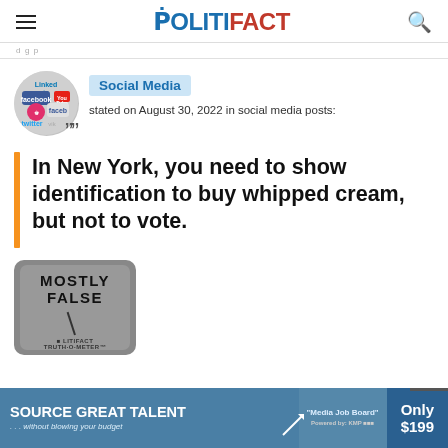POLITIFACT
stated on August 30, 2022 in social media posts:
In New York, you need to show identification to buy whipped cream, but not to vote.
[Figure (other): PolitiFact Truth-O-Meter showing MOSTLY FALSE verdict]
[Figure (other): Advertisement banner: SOURCE GREAT TALENT ...without blowing your budget. Media Job Board. Only $199]